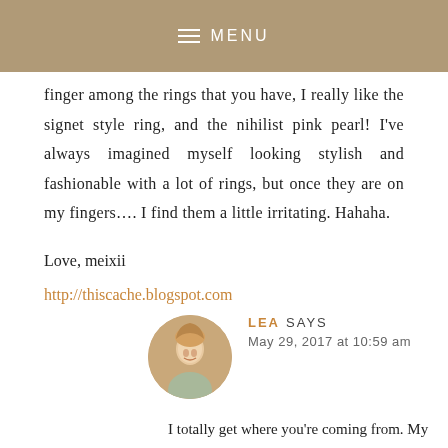MENU
finger among the rings that you have, I really like the signet style ring, and the nihilist pink pearl! I've always imagined myself looking stylish and fashionable with a lot of rings, but once they are on my fingers…. I find them a little irritating. Hahaha.
Love, meixii
http://thiscache.blogspot.com
LEA SAYS
May 29, 2017 at 10:59 am
I totally get where you're coming from. My sister didn't like wearing rings either but with time she got into it. Now she